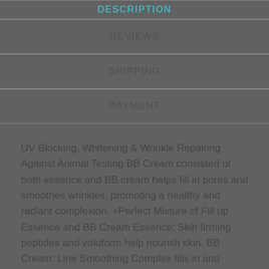DESCRIPTION
REVIEWS
SHIPPING
PAYMENT
UV Blocking, Whitening & Wrinkle Repairing Against Animal Testing BB Cream consisted of both essence and BB cream helps fill in pores and smoothes wrinkles, promoting a healthy and radiant complexion. +Perfect Mixture of Fill up Essence and BB Cream Essence: Skin firming peptides and voluform help nourish skin. BB Cream: Line Smoothing Complex fills in and smoothes fine wrinkles and pores. Skin Comforting Makeup Containing fullerene and SLLS, it moisturizes and protects the skin.